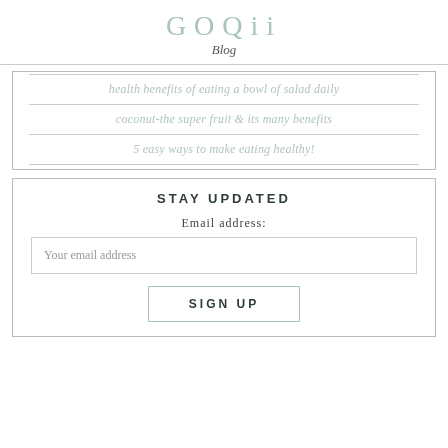GOQii
Blog
health benefits of eating a bowl of salad daily
coconut-the super fruit & its many benefits
5 easy ways to make eating healthy!
STAY UPDATED
Email address:
Your email address
SIGN UP